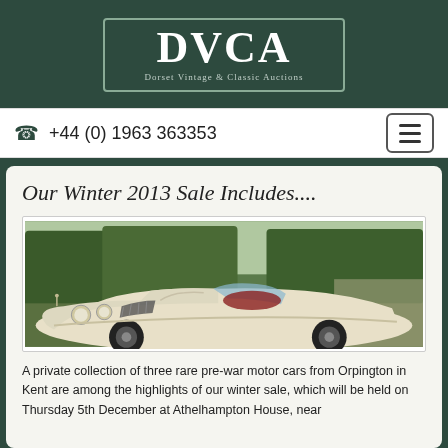[Figure (logo): DVCA - Dorset Vintage & Classic Auctions logo in green bordered box with white text]
+44 (0) 1963 363353
Our Winter 2013 Sale Includes....
[Figure (photo): A cream/white vintage classic Jaguar XK convertible car photographed outdoors with trees in background]
A private collection of three rare pre-war motor cars from Orpington in Kent are among the highlights of our winter sale, which will be held on Thursday 5th December at Athelhampton House, near